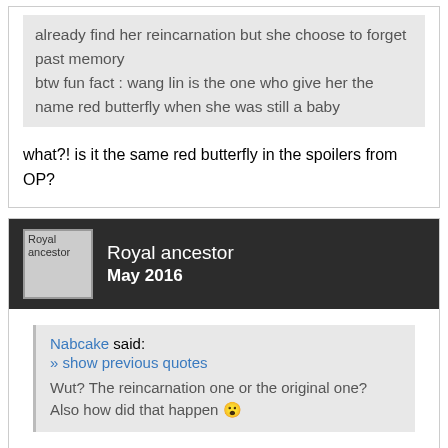already find her reincarnation but she choose to forget past memory
btw fun fact : wang lin is the one who give her the name red butterfly when she was still a baby
what?! is it the same red butterfly in the spoilers from OP?
Royal ancestor
May 2016
Nabcake said:
» show previous quotes
Wut? The reincarnation one or the original one? Also how did that happen 😮
the original one but from the start she's actually the reincarnation of wang lin's friend/sworn brother daughter and in a dream life (that actually somekind of time teleport because it turn out to be a fact) wang lin's dream role give red butterfly baby her name